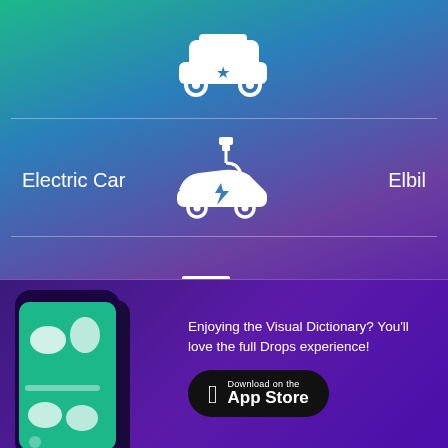[Figure (illustration): White police/taxi car icon with star badge on green-teal background at top]
Electric Car
[Figure (illustration): White electric car icon with lightning bolt and USB charging cable]
Elbil
SUV
[Figure (illustration): White SUV/off-road vehicle icon]
Stadsjeep
[Figure (screenshot): Mobile phone showing the Drops language learning app interface with illustrated vocabulary items]
Enjoying the Visual Dictionary? You'll love the full Drops experience!
Download on the App Store